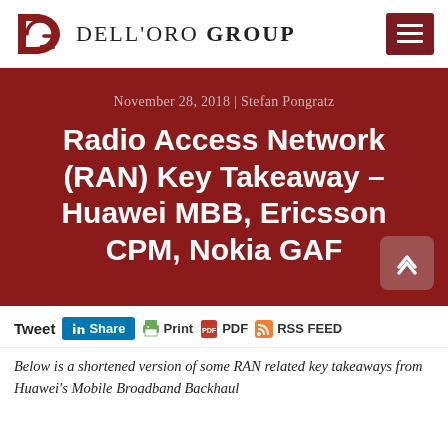Dell'Oro Group
November 28, 2018 | Stefan Pongratz
Radio Access Network (RAN) Key Takeaway – Huawei MBB, Ericsson CPM, Nokia GAF
Tweet Share Print PDF RSS FEED
Below is a shortened version of some RAN related key takeaways from Huawei's Mobile Broadband Backhaul